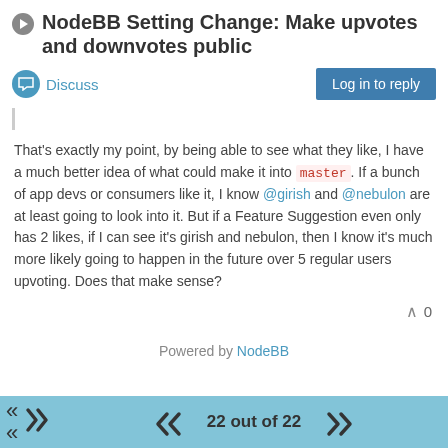NodeBB Setting Change: Make upvotes and downvotes public
Discuss
Log in to reply
That's exactly my point, by being able to see what they like, I have a much better idea of what could make it into master. If a bunch of app devs or consumers like it, I know @girish and @nebulon are at least going to look into it. But if a Feature Suggestion even only has 2 likes, if I can see it's girish and nebulon, then I know it's much more likely going to happen in the future over 5 regular users upvoting. Does that make sense?
^ 0
Powered by NodeBB
22 out of 22